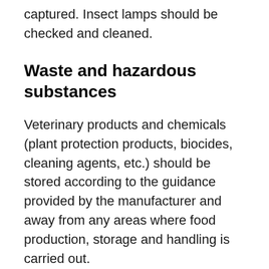captured. Insect lamps should be checked and cleaned.
Waste and hazardous substances
Veterinary products and chemicals (plant protection products, biocides, cleaning agents, etc.) should be stored according to the guidance provided by the manufacturer and away from any areas where food production, storage and handling is carried out.
Table 3: Measures to prevent risk from veterinary products, chemicals